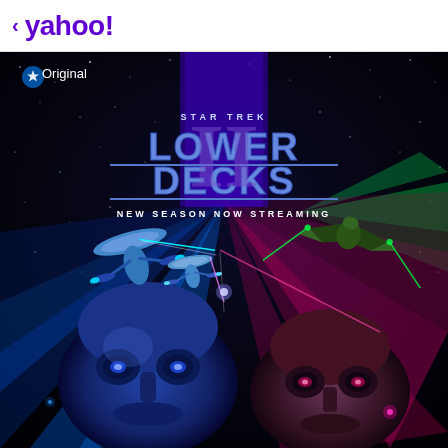< yahoo!
[Figure (illustration): Star Trek Lower Decks Season promotional poster on Paramount+, shown on Yahoo streaming interface. Dark space background with neon rays in blue, pink and green. Two starships firing weapons, and large robot/alien face in lower portion. Text reads: STAR TREK LOWER DECKS II NEW SEASON NOW STREAMING. Paramount Original badge in upper left.]